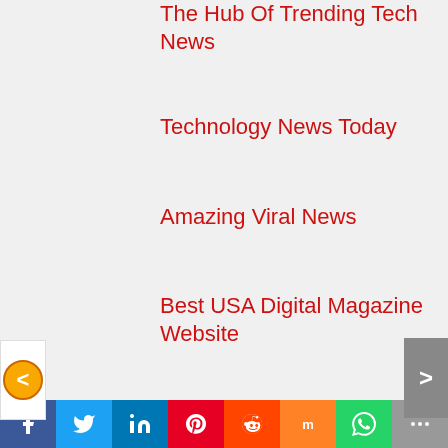The Hub Of Trending Tech News
Technology News Today
Amazing Viral News
Best USA Digital Magazine Website
Trick2Deals
[Figure (infographic): Social sharing toolbar with icons for Facebook, Twitter, LinkedIn, Pinterest, Reddit, Mix, WhatsApp, and More]